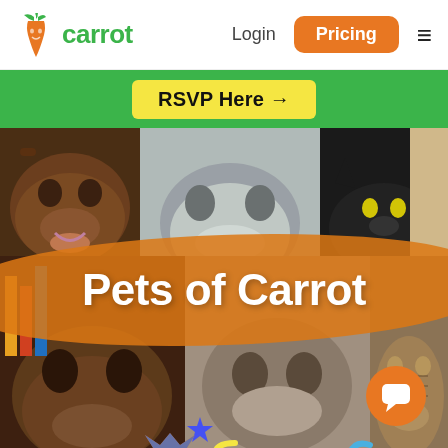[Figure (screenshot): Carrot website screenshot showing navigation bar with logo, Login, Pricing button, and hamburger menu, a green RSVP Here banner, and a photo collage grid titled 'Pets of Carrot' with various pet photos — dogs and cats — overlaid with an orange carrot-shaped banner and decorative illustrations.]